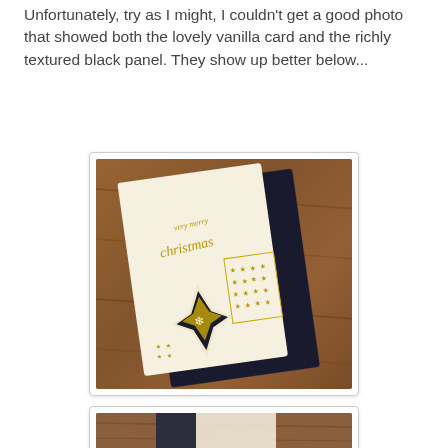Unfortunately, try as I might, I couldn't get a good photo that showed both the lovely vanilla card and the richly textured black panel. They show up better below...
[Figure (photo): Photo of a handmade Christmas card featuring a vanilla/white card base with a black embossed panel, gold star decoration layered with smaller stars pattern, and gold script reading 'very merry christmas'. The card is photographed on a wooden surface.]
[Figure (photo): Partial photo showing the bottom portion of another card view, showing black and white elements on a wooden surface.]